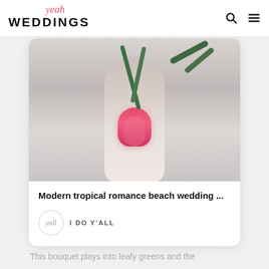Yeah WEDDINGS
[Figure (photo): Close-up photo of a bride holding a bouquet with tropical pink flowers and leafy green palm fronds, soft blurred background]
Modern tropical romance beach wedding ...
I DO Y'ALL
This bouquet plays into leafy greens and the